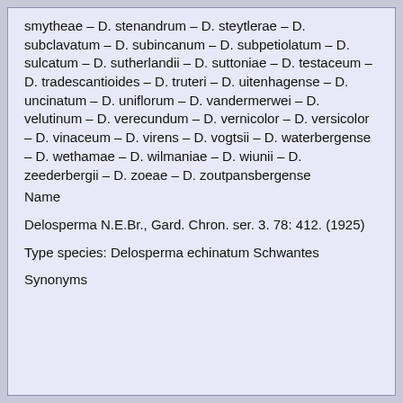smytheae – D. stenandrum – D. steytlerae – D. subclavatum – D. subincanum – D. subpetiolatum – D. sulcatum – D. sutherlandii – D. suttoniae – D. testaceum – D. tradescantioides – D. truteri – D. uitenhagense – D. uncinatum – D. uniflorum – D. vandermerwei – D. velutinum – D. verecundum – D. vernicolor – D. versicolor – D. vinaceum – D. virens – D. vogtsii – D. waterbergense – D. wethamae – D. wilmaniae – D. wiunii – D. zeederbergii – D. zoeae – D. zoutpansbergense
Name
Delosperma N.E.Br., Gard. Chron. ser. 3. 78: 412. (1925)
Type species: Delosperma echinatum Schwantes
Synonyms